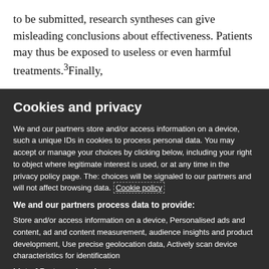to be submitted, research syntheses can give misleading conclusions about effectiveness. Patients may thus be exposed to useless or even harmful treatments.³Finally,
Cookies and privacy
We and our partners store and/or access information on a device, such a unique IDs in cookies to process personal data. You may accept or manage your choices by clicking below, including your right to object where legitimate interest is used, or at any time in the privacy policy page. These choices will be signaled to our partners and will not affect browsing data. Cookie policy
We and our partners process data to provide:
Store and/or access information on a device, Personalised ads and content, ad and content measurement, audience insights and product development, Use precise geolocation data, Actively scan device characteristics for identification
List of Partners (vendors)